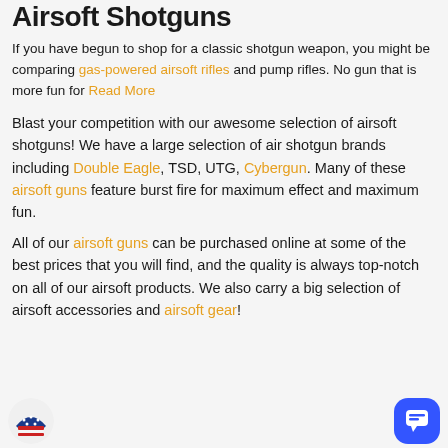Airsoft Shotguns
If you have begun to shop for a classic shotgun weapon, you might be comparing gas-powered airsoft rifles and pump rifles. No gun that is more fun for Read More
Blast your competition with our awesome selection of airsoft shotguns! We have a large selection of air shotgun brands including Double Eagle, TSD, UTG, Cybergun. Many of these airsoft guns feature burst fire for maximum effect and maximum fun.
All of our airsoft guns can be purchased online at some of the best prices that you will find, and the quality is always top-notch on all of our airsoft products. We also carry a big selection of airsoft accessories and airsoft gear!
[Figure (illustration): US flag circular icon at bottom left, and blue chat button at bottom right]